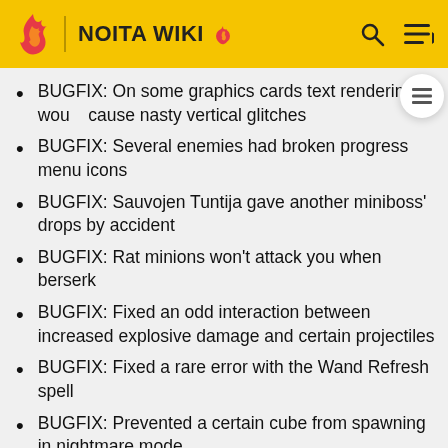NOITA WIKI
BUGFIX: On some graphics cards text rendering would cause nasty vertical glitches
BUGFIX: Several enemies had broken progress menu icons
BUGFIX: Sauvojen Tuntija gave another miniboss' drops by accident
BUGFIX: Rat minions won't attack you when berserk
BUGFIX: Fixed an odd interaction between increased explosive damage and certain projectiles
BUGFIX: Fixed a rare error with the Wand Refresh spell
BUGFIX: Prevented a certain cube from spawning in nightmare mode
BUGFIX: A miniboss couldn't be targeted by homing